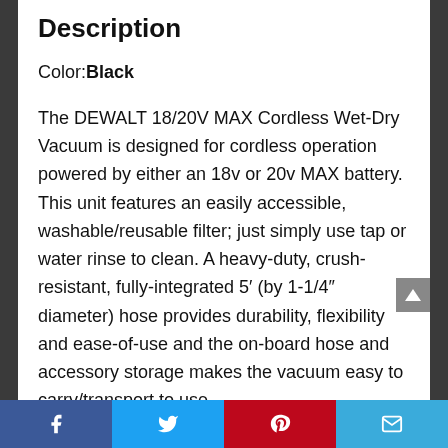Description
Color: Black
The DEWALT 18/20V MAX Cordless Wet-Dry Vacuum is designed for cordless operation powered by either an 18v or 20v MAX battery. This unit features an easily accessible, washable/reusable filter; just simply use tap or water rinse to clean. A heavy-duty, crush-resistant, fully-integrated 5′ (by 1-1/4″ diameter) hose provides durability, flexibility and ease-of-use and the on-board hose and accessory storage makes the vacuum easy to carry/transport to use
Facebook | Twitter | Pinterest | Email